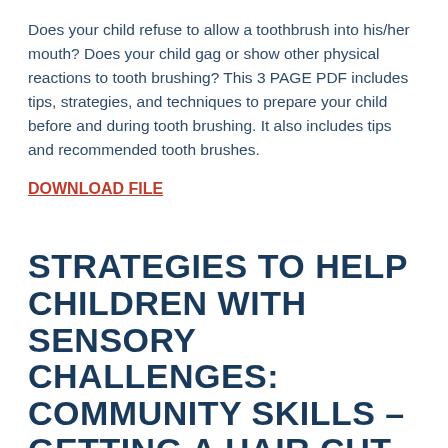Does your child refuse to allow a toothbrush into his/her mouth? Does your child gag or show other physical reactions to tooth brushing? This 3 PAGE PDF includes tips, strategies, and techniques to prepare your child before and during tooth brushing. It also includes tips and recommended tooth brushes.
DOWNLOAD FILE
STRATEGIES TO HELP CHILDREN WITH SENSORY CHALLENGES: COMMUNITY SKILLS – GETTING A HAIR CUT